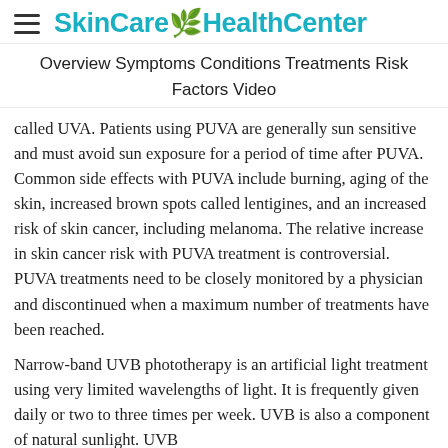SkinCareHealthCenter
Overview  Symptoms  Conditions  Treatments  Risk Factors  Video
called UVA. Patients using PUVA are generally sun sensitive and must avoid sun exposure for a period of time after PUVA. Common side effects with PUVA include burning, aging of the skin, increased brown spots called lentigines, and an increased risk of skin cancer, including melanoma. The relative increase in skin cancer risk with PUVA treatment is controversial. PUVA treatments need to be closely monitored by a physician and discontinued when a maximum number of treatments have been reached.
Narrow-band UVB phototherapy is an artificial light treatment using very limited wavelengths of light. It is frequently given daily or two to three times per week. UVB is also a component of natural sunlight. UVB